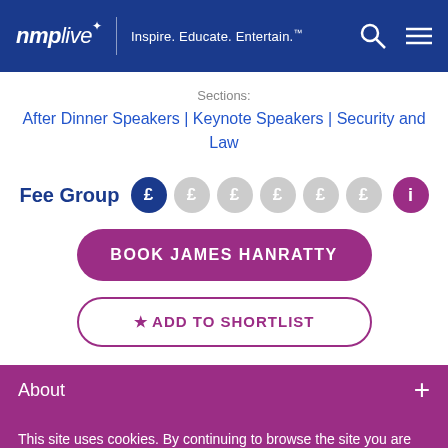nmp live — Inspire. Educate. Entertain.
Sections:
After Dinner Speakers | Keynote Speakers | Security and Law
Fee Group £ £ £ £ £ £ ℹ
BOOK JAMES HANRATTY
★ ADD TO SHORTLIST
About +
This site uses cookies. By continuing to browse the site you are agreeing to our use of cookies.
ACCEPT